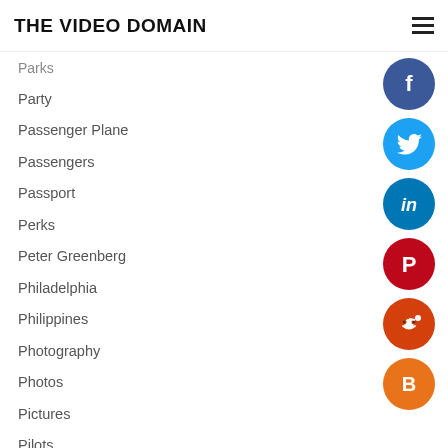THE VIDEO DOMAIN
Parks
Party
Passenger Plane
Passengers
Passport
Perks
Peter Greenberg
Philadelphia
Philippines
Photography
Photos
Pictures
Pilots
Pitch
Plane
Planning
[Figure (infographic): Social media icons column: Facebook (dark blue), Twitter (light blue), LinkedIn (blue), Pinterest (red), Reddit (orange-red), Blogger (orange)]